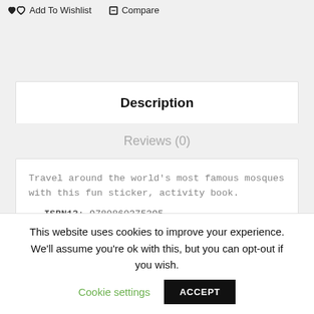Add To Wishlist   Compare
Description
Reviews (0)
Travel around the world's most famous mosques with this fun sticker, activity book.
ISBN13: 9780860375395
ISBN10: 0860375390
This website uses cookies to improve your experience. We'll assume you're ok with this, but you can opt-out if you wish.
Cookie settings
ACCEPT